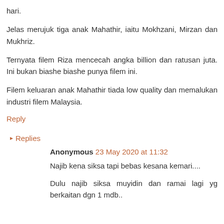hari.
Jelas merujuk tiga anak Mahathir, iaitu Mokhzani, Mirzan dan Mukhriz.
Ternyata filem Riza mencecah angka billion dan ratusan juta. Ini bukan biashe biashe punya filem ini.
Filem keluaran anak Mahathir tiada low quality dan memalukan industri filem Malaysia.
Reply
▸ Replies
Anonymous 23 May 2020 at 11:32
Najib kena siksa tapi bebas kesana kemari....
Dulu najib siksa muyidin dan ramai lagi yg berkaitan dgn 1 mdb..